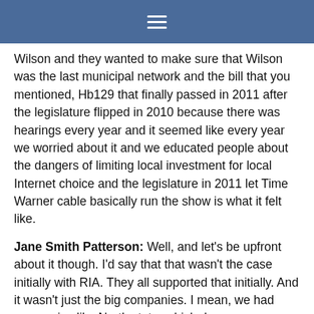≡
Wilson and they wanted to make sure that Wilson was the last municipal network and the bill that you mentioned, Hb129 that finally passed in 2011 after the legislature flipped in 2010 because there was hearings every year and it seemed like every year we worried about it and we educated people about the dangers of limiting local investment for local Internet choice and the legislature in 2011 let Time Warner cable basically run the show is what it felt like.
Jane Smith Patterson: Well, and let's be upfront about it though. I'd say that that wasn't the case initially with RIA. They all supported that initially. And it wasn't just the big companies. I mean, we had companies like North state, which deserve, you know, they need the cross of gold because they were incredibly supportive and what I had in